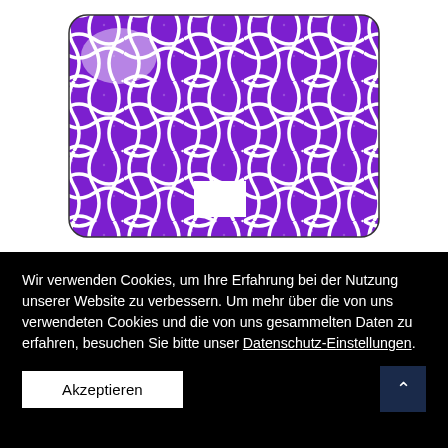[Figure (photo): A product image showing a rectangular item (appears to be a laptop case or tablet cover) with a purple glitter Moroccan/quatrefoil tile pattern. The pattern features interlocking curved shapes in bright purple glitter against white outlines, with a small white rectangular cutout visible near the bottom center.]
Wir verwenden Cookies, um Ihre Erfahrung bei der Nutzung unserer Website zu verbessern. Um mehr über die von uns verwendeten Cookies und die von uns gesammelten Daten zu erfahren, besuchen Sie bitte unser Datenschutz-Einstellungen.
Akzeptieren